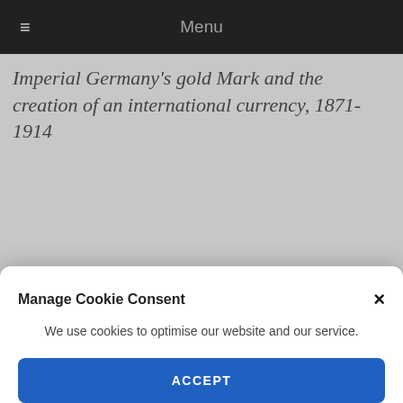≡  Menu
Imperial Germany's gold Mark and the creation of an international currency, 1871-1914
Manage Cookie Consent
We use cookies to optimise our website and our service.
ACCEPT
integration: Evidence from the Italian and German unifications
Roger Vicquéry (London School of Economics)
IIC:    Trade and Industry (chair: Frank Tough) (CBA